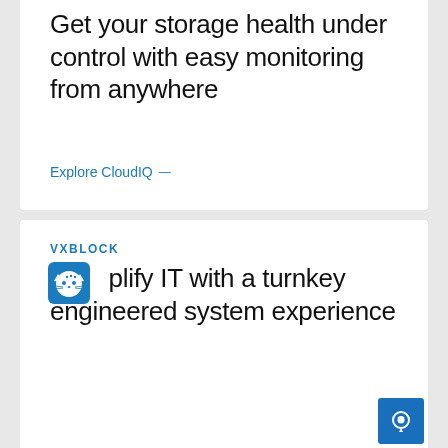Get your storage health under control with easy monitoring from anywhere
Explore CloudIQ →
VXBLOCK
Simplify IT with a turnkey engineered system experience